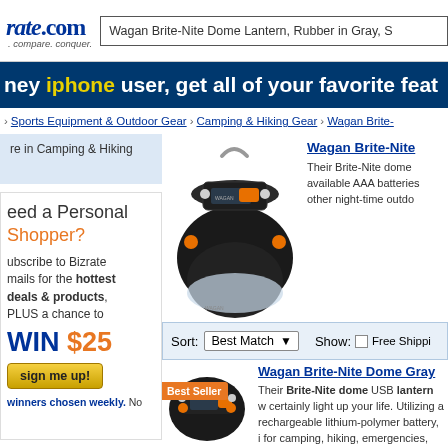rate.com | search: Wagan Brite-Nite Dome Lantern, Rubber in Gray, S
[Figure (screenshot): Blue promotional banner: 'hey iphone user, get all of your favorite feat']
> Sports Equipment & Outdoor Gear > Camping & Hiking Gear > Wagan Brite-
re in Camping & Hiking
[Figure (photo): Photo of Wagan Brite-Nite dome lantern, dark gray with orange button and metal handle]
Wagan Brite-Nite
Their Brite-Nite dome available AAA batteries other night-time outdo
eed a Personal Shopper?
ubscribe to Bizrate mails for the hottest deals & products, PLUS a chance to
WIN $25
sign me up!
winners chosen weekly. No
Sort: Best Match  Show: [ ] Free Shippi
Wagan Brite-Nite Dome Gray
Their Brite-Nite dome USB lantern w certainly light up your life. Utilizing a rechargeable lithium-polymer battery, i for camping, hiking, emergencies, pow